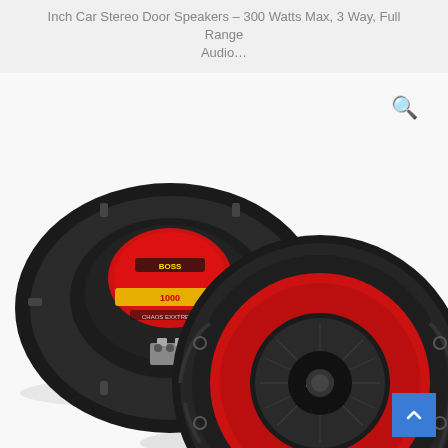Inch Car Stereo Door Speakers – 300 Watts Max, 3 Way, Full Range Audio…
[Figure (photo): Two BOSS car stereo coaxial door speakers. One speaker shown from the back revealing mounting hardware and terminals, and one shown from the front displaying the red cone and black grille with the BOSS logo.]